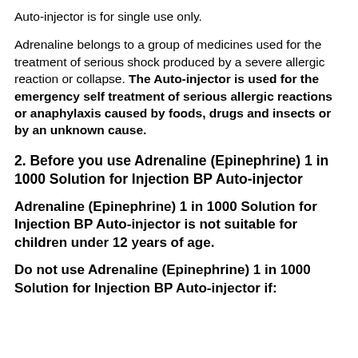Auto-injector is for single use only.
Adrenaline belongs to a group of medicines used for the treatment of serious shock produced by a severe allergic reaction or collapse. The Auto-injector is used for the emergency self treatment of serious allergic reactions or anaphylaxis caused by foods, drugs and insects or by an unknown cause.
2. Before you use Adrenaline (Epinephrine) 1 in 1000 Solution for Injection BP Auto-injector
Adrenaline (Epinephrine) 1 in 1000 Solution for Injection BP Auto-injector is not suitable for children under 12 years of age.
Do not use Adrenaline (Epinephrine) 1 in 1000 Solution for Injection BP Auto-injector if: